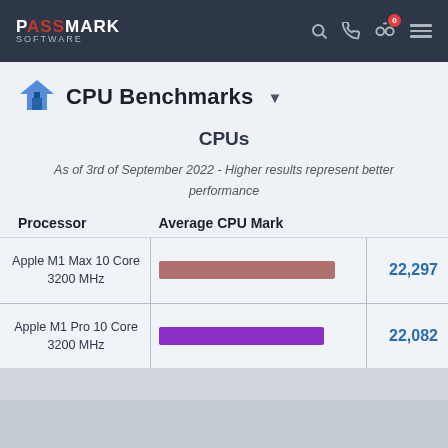PassMark Software — Navigation bar with logo, search, phone, compare (0), and menu icons
CPU Benchmarks
CPUs
As of 3rd of September 2022 - Higher results represent better performance
| Processor | Average CPU Mark |  |
| --- | --- | --- |
| Apple M1 Max 10 Core 3200 MHz | (bar) | 22,297 |
| Apple M1 Pro 10 Core 3200 MHz | (bar) | 22,082 |